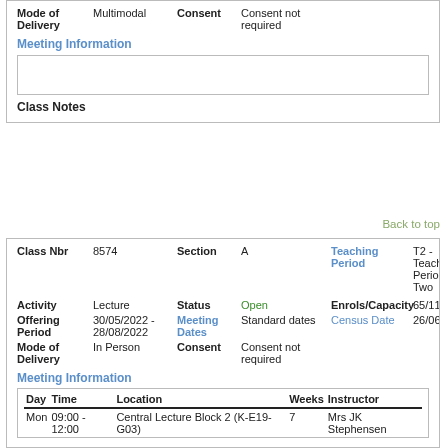| Mode of Delivery | Multimodal | Consent | Consent not required |
Meeting Information
Class Notes
Back to top
| Class Nbr | 8574 | Section | A | Teaching Period | T2 - Teaching Period Two |
| Activity | Lecture | Status | Open | Enrols/Capacity | 65/112 |
| Offering Period | 30/05/2022 - 28/08/2022 | Meeting Dates | Standard dates | Census Date | 26/06/2022 |
| Mode of Delivery | In Person | Consent | Consent not required |  |  |
Meeting Information
| Day | Time | Location | Weeks | Instructor |
| --- | --- | --- | --- | --- |
| Mon | 09:00 - 12:00 | Central Lecture Block 2 (K-E19-G03) | 7 | Mrs JK Stephensen |